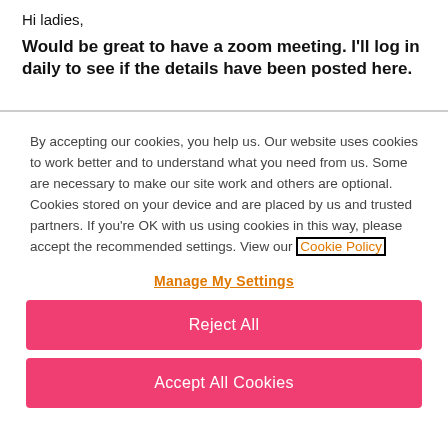Hi ladies,
Would be great to have a zoom meeting. I'll log in daily to see if the details have been posted here.
By accepting our cookies, you help us. Our website uses cookies to work better and to understand what you need from us. Some are necessary to make our site work and others are optional. Cookies stored on your device and are placed by us and trusted partners. If you're OK with us using cookies in this way, please accept the recommended settings. View our Cookie Policy
Manage My Settings
Reject All
Accept All Cookies